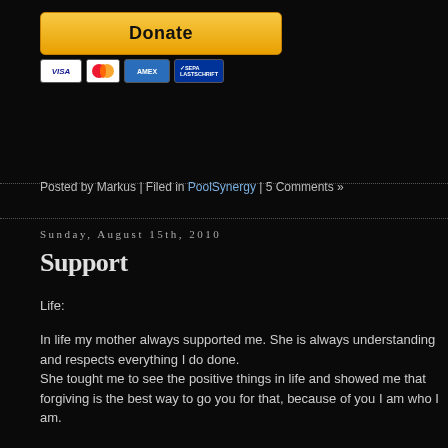[Figure (other): PayPal Donate button with payment icons: VISA, Mastercard, American Express, SEPA]
Posted by Markus | Filed in PoolSynergy | 5 Comments »
Sunday, August 15th, 2010
Support
Life:
In life my mother always supported me. She is always understanding and respects everything I do done.
She tought me to see the positive things in life and showed me that forgiving is the best way to go you for that, because of you I am who I am.